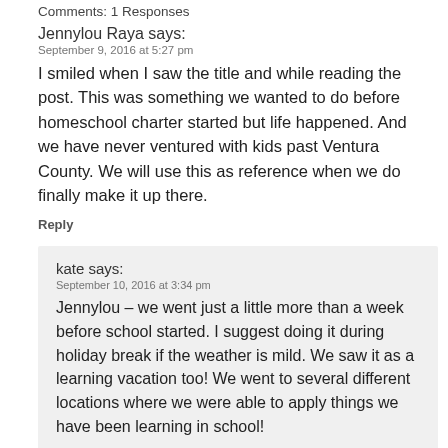Comments: 1 Responses
Jennylou Raya says:
September 9, 2016 at 5:27 pm
I smiled when I saw the title and while reading the post. This was something we wanted to do before homeschool charter started but life happened. And we have never ventured with kids past Ventura County. We will use this as reference when we do finally make it up there.
Reply
kate says:
September 10, 2016 at 3:34 pm
Jennylou – we went just a little more than a week before school started. I suggest doing it during holiday break if the weather is mild. We saw it as a learning vacation too! We went to several different locations where we were able to apply things we have been learning in school!